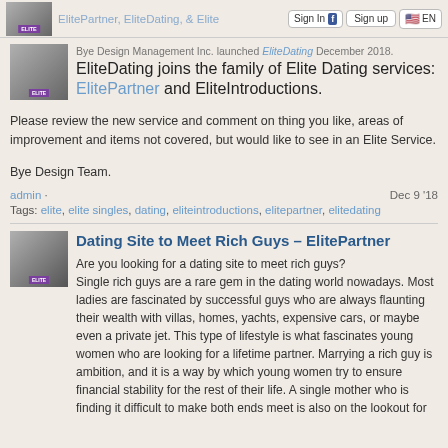ElitePartner, EliteDating, & Elite... | Sign In | Sign up | EN
Bye Design Management Inc. launched EliteDating December 2018. EliteDating joins the family of Elite Dating services: ElitePartner and EliteIntroductions.
Please review the new service and comment on thing you like, areas of improvement and items not covered, but would like to see in an Elite Service.
Bye Design Team.
admin · Dec 9 '18
Tags: elite, elite singles, dating, eliteintroductions, elitepartner, elitedating
Dating Site to Meet Rich Guys – ElitePartner
Are you looking for a dating site to meet rich guys? Single rich guys are a rare gem in the dating world nowadays. Most ladies are fascinated by successful guys who are always flaunting their wealth with villas, homes, yachts, expensive cars, or maybe even a private jet. This type of lifestyle is what fascinates young women who are looking for a lifetime partner. Marrying a rich guy is ambition, and it is a way by which young women try to ensure financial stability for the rest of their life. A single mother who is finding it difficult to make both ends meet is also on the lookout for